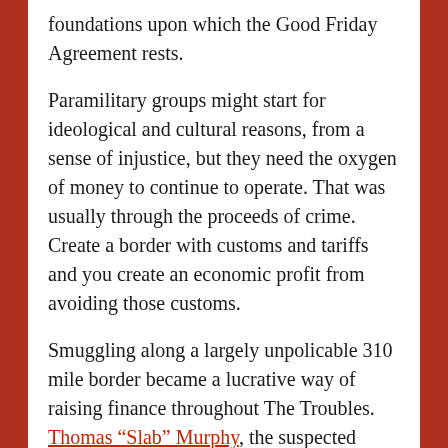foundations upon which the Good Friday Agreement rests.
Paramilitary groups might start for ideological and cultural reasons, from a sense of injustice, but they need the oxygen of money to continue to operate. That was usually through the proceeds of crime. Create a border with customs and tariffs and you create an economic profit from avoiding those customs.
Smuggling along a largely unpolicable 310 mile border became a lucrative way of raising finance throughout The Troubles. Thomas “Slab” Murphy, the suspected onetime Chief of Staff of the IRA, owned a farm straddling the border like